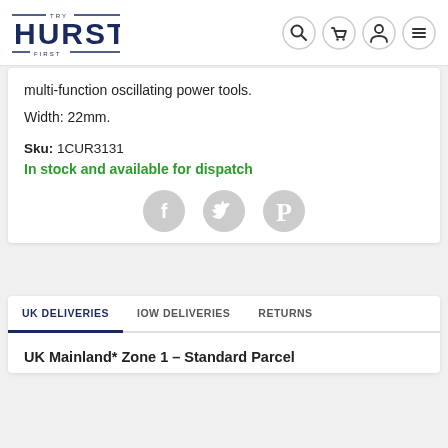[Figure (logo): Try Hurst First logo - navy blue text with decorative lines]
multi-function oscillating power tools.
Width: 22mm.
Sku: 1CUR3131
In stock and available for dispatch
[Figure (illustration): Social share icons: Facebook, Twitter, Pinterest - grey circular icons]
UK DELIVERIES
IOW DELIVERIES
RETURNS
UK Mainland* Zone 1 – Standard Parcel